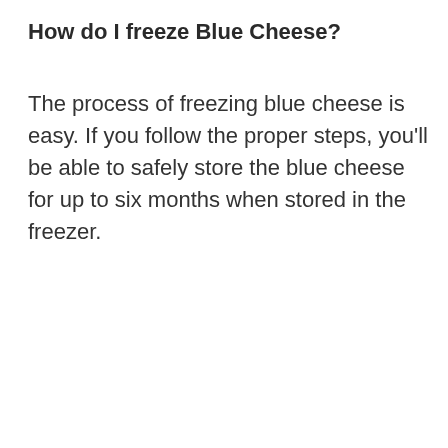How do I freeze Blue Cheese?
The process of freezing blue cheese is easy. If you follow the proper steps, you'll be able to safely store the blue cheese for up to six months when stored in the freezer.